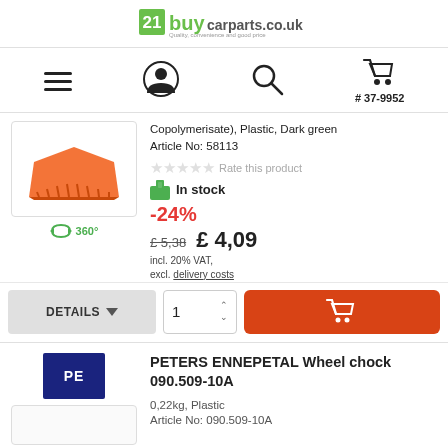[Figure (logo): 21buycarparts.co.uk logo with tagline 'Quality, convenience and good price']
[Figure (infographic): Navigation bar with hamburger menu, user account icon, search icon, shopping cart icon with number #37-9952]
Copolymerisate), Plastic, Dark green
Article No: 58113
Rate this product
In stock
-24%
£ 5,38  £ 4,09 incl. 20% VAT, excl. delivery costs
[Figure (photo): Orange plastic wheel chock / wedge product image]
360°
DETAILS
1
[Figure (logo): PETERS ENNEPETAL brand logo - dark blue box with PE text]
PETERS ENNEPETAL Wheel chock 090.509-10A
0,22kg, Plastic
Article No: 090.509-10A